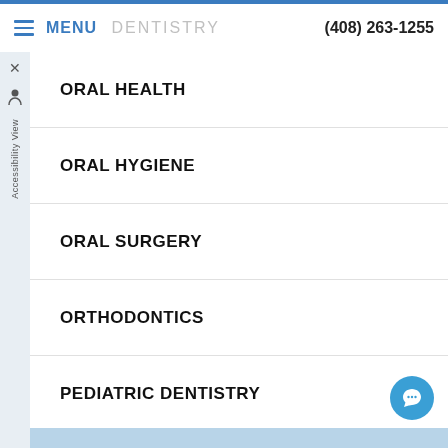MENU DENTISTRY (408) 263-1255
ORAL HEALTH
ORAL HYGIENE
ORAL SURGERY
ORTHODONTICS
PEDIATRIC DENTISTRY
PERIODONTAL THERAPY
TECHNOLOGY